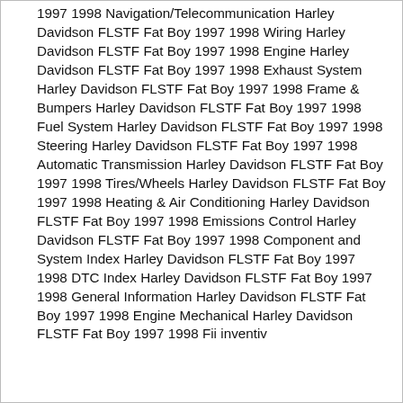1997 1998 Navigation/Telecommunication Harley Davidson FLSTF Fat Boy 1997 1998 Wiring Harley Davidson FLSTF Fat Boy 1997 1998 Engine Harley Davidson FLSTF Fat Boy 1997 1998 Exhaust System Harley Davidson FLSTF Fat Boy 1997 1998 Frame & Bumpers Harley Davidson FLSTF Fat Boy 1997 1998 Fuel System Harley Davidson FLSTF Fat Boy 1997 1998 Steering Harley Davidson FLSTF Fat Boy 1997 1998 Automatic Transmission Harley Davidson FLSTF Fat Boy 1997 1998 Tires/Wheels Harley Davidson FLSTF Fat Boy 1997 1998 Heating & Air Conditioning Harley Davidson FLSTF Fat Boy 1997 1998 Emissions Control Harley Davidson FLSTF Fat Boy 1997 1998 Component and System Index Harley Davidson FLSTF Fat Boy 1997 1998 DTC Index Harley Davidson FLSTF Fat Boy 1997 1998 General Information Harley Davidson FLSTF Fat Boy 1997 1998 Engine Mechanical Harley Davidson FLSTF Fat Boy 1997 1998 Fii inventiv